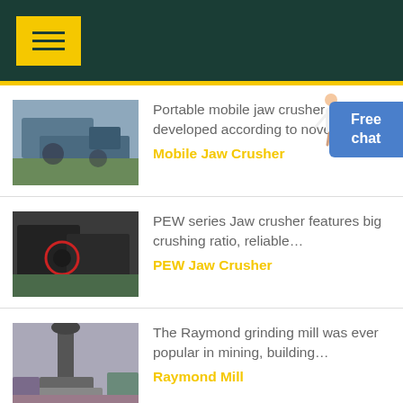Menu
Portable mobile jaw crusher is developed according to novel series… Mobile Jaw Crusher
[Figure (photo): Photo of a portable mobile jaw crusher machine on a construction site]
PEW series Jaw crusher features big crushing ratio, reliable… PEW Jaw Crusher
[Figure (photo): Photo of a PEW series jaw crusher machine with red circle highlight]
The Raymond grinding mill was ever popular in mining, building… Raymond Mill
[Figure (photo): Photo of a Raymond grinding mill machine]